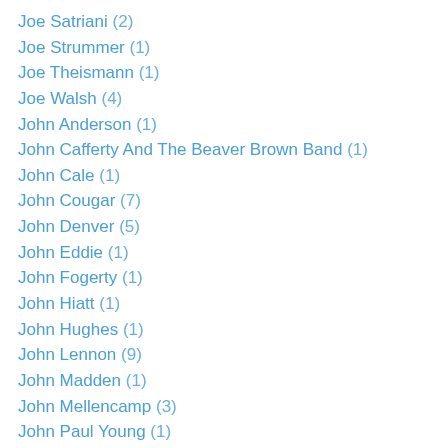Joe Satriani (2)
Joe Strummer (1)
Joe Theismann (1)
Joe Walsh (4)
John Anderson (1)
John Cafferty And The Beaver Brown Band (1)
John Cale (1)
John Cougar (7)
John Denver (5)
John Eddie (1)
John Fogerty (1)
John Hiatt (1)
John Hughes (1)
John Lennon (9)
John Madden (1)
John Mellencamp (3)
John Paul Young (1)
John Prine (3)
John Schneider (1)
John Stewart (4)